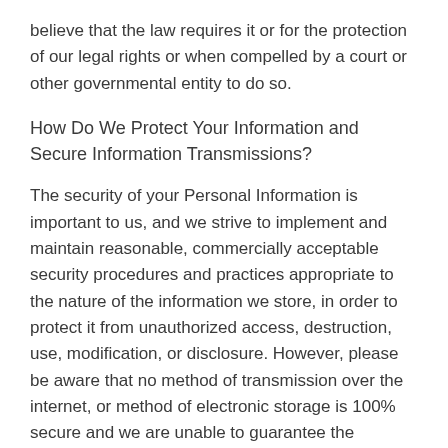believe that the law requires it or for the protection of our legal rights or when compelled by a court or other governmental entity to do so.
How Do We Protect Your Information and Secure Information Transmissions?
The security of your Personal Information is important to us, and we strive to implement and maintain reasonable, commercially acceptable security procedures and practices appropriate to the nature of the information we store, in order to protect it from unauthorized access, destruction, use, modification, or disclosure. However, please be aware that no method of transmission over the internet, or method of electronic storage is 100% secure and we are unable to guarantee the absolute security of the Personal Information we have collected from you.